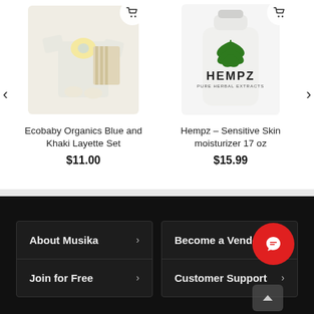[Figure (photo): Ecobaby Organics Blue and Khaki Layette Set product image showing baby onesie, bib with elephant, striped blanket, and baby shoes]
Ecobaby Organics Blue and Khaki Layette Set
$11.00
[Figure (photo): Hempz Pure Herbal Extracts Sensitive Skin moisturizer 17 oz white bottle with green hemp leaf logo]
Hempz – Sensitive Skin moisturizer 17 oz
$15.99
About Musika >
Join for Free >
Become a Vendor >
Customer Support >